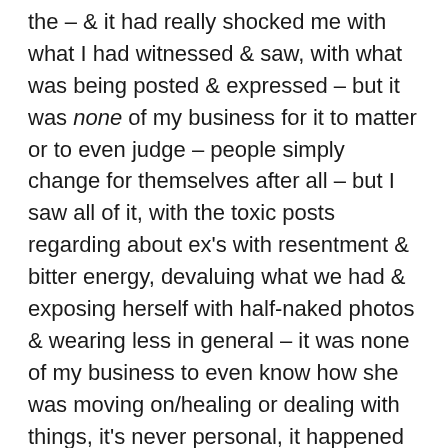the – & it had really shocked me with what I had witnessed & saw, with what was being posted & expressed – but it was none of my business for it to matter or to even judge – people simply change for themselves after all – but I saw all of it, with the toxic posts regarding about ex's with resentment & bitter energy, devaluing what we had & exposing herself with half-naked photos & wearing less in general – it was none of my business to even know how she was moving on/healing or dealing with things, it's never personal, it happened & what was seen could not be unseen. However, it really did confused me because that was not who I had known for 4 years, was it really all a lie? Everything that she was doing contradicted everything she had despised that I had believed. Even before she left, I was lead to believe from her that she had never been happier being single, & how she was at peace.